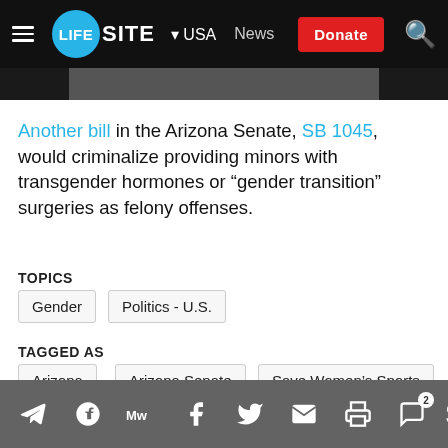LifeSite — USA News
Another bill in the Arizona Senate, SB 1045, would criminalize providing minors with transgender hormones or “gender transition” surgeries as felony offenses.
TOPICS
Gender
Politics - U.S.
TAGGED AS
Arizona
Arizona Senate
Save Women's Sports
Save Women's Sports Act
sports fairness
Transgender
Share bar with social icons